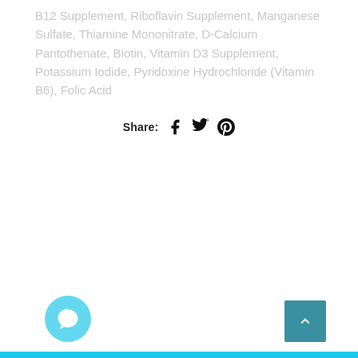B12 Supplement, Riboflavin Supplement, Manganese Sulfate, Thiamine Mononitrate, D-Calcium Pantothenate, Biotin, Vitamin D3 Supplement, Potassium Iodide, Pyridoxine Hydrochloride (Vitamin B6), Folic Acid
Share:
[Figure (infographic): Share icons: Facebook, Twitter, Pinterest]
SUBSCRIBE
Get our latest news and special sales
Enter your email | Get